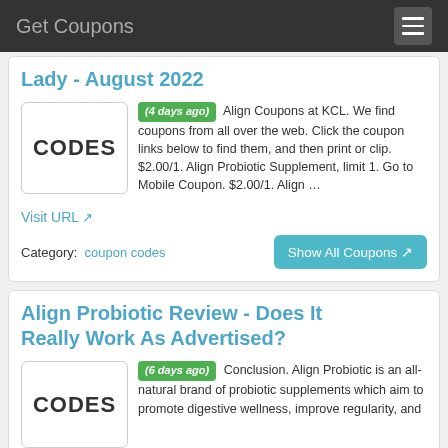Get Coupons
Lady - August 2022
(4 days ago) Align Coupons at KCL. We find coupons from all over the web. Click the coupon links below to find them, and then print or clip. $2.00/1. Align Probiotic Supplement, limit 1. Go to Mobile Coupon. $2.00/1. Align …
Visit URL
Category: coupon codes
Show All Coupons
Align Probiotic Review - Does It Really Work As Advertised?
(6 days ago) Conclusion. Align Probiotic is an all-natural brand of probiotic supplements which aim to promote digestive wellness, improve regularity, and